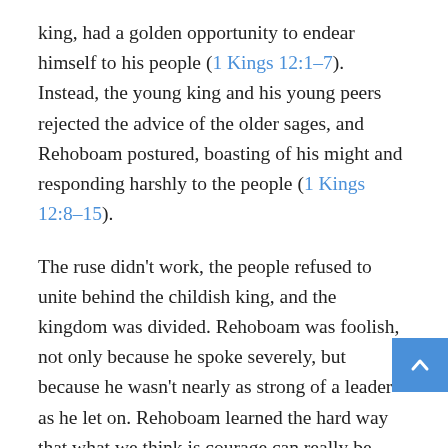king, had a golden opportunity to endear himself to his people (1 Kings 12:1–7). Instead, the young king and his young peers rejected the advice of the older sages, and Rehoboam postured, boasting of his might and responding harshly to the people (1 Kings 12:8–15).
The ruse didn't work, the people refused to unite behind the childish king, and the kingdom was divided. Rehoboam was foolish, not only because he spoke severely, but because he wasn't nearly as strong of a leader as he let on. Rehoboam learned the hard way that what we think is courage can really be self-indulgence.
Dietrich Bonhoeffer warned of a gospel-less, repentance-less version of Christianity he called "cheap grace." But a truth-less, love-less version of Christian activism might also be called "cheap conviction." Cheap conviction is warring for the truth with no skin in the game. Cheap conviction is what it looks like when we are passionate to...